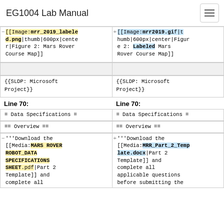EG1004 Lab Manual
| Left diff | Right diff |
| --- | --- |
| [[Image:mrr_2019_labeled.png|thumb|600px|center|Figure 2: Mars Rover Course Map]] | [[Image:mrr2019.gif|thumb|600px|center|Figure 2: Labeled Mars Rover Course Map]] |
| (empty) | (empty) |
| {{SLDP: Microsoft Project}} | {{SLDP: Microsoft Project}} |
| Line 70: | Line 70: |
| = Data Specifications = | = Data Specifications = |
| == Overview == | == Overview == |
| '''Download the [[Media:MARS ROVER ROBOT_DATA SPECIFICATIONS SHEET.pdf|Part 2 Template]] and complete all | '''Download the [[Media:MRR_Part_2_Template.docx|Part 2 Template]] and complete all applicable questions before submitting the |